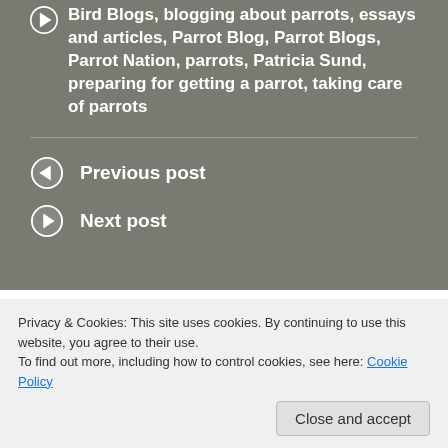Bird Blogs, blogging about parrots, essays and articles, Parrot Blog, Parrot Blogs, Parrot Nation, parrots, Patricia Sund, preparing for getting a parrot, taking care of parrots
Previous post
Next post
75 thoughts on “Preparing Yourself For Getting a Bird”
Privacy & Cookies: This site uses cookies. By continuing to use this website, you agree to their use.
To find out more, including how to control cookies, see here: Cookie Policy